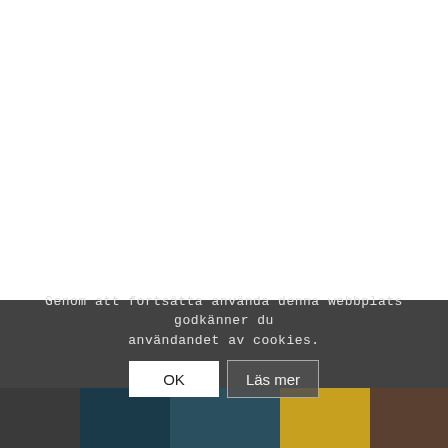[Figure (screenshot): White blank area at the top of the page, representing obscured/empty webpage content.]
Genom att fortsätta använda denna webbplats godkänner du användandet av cookies.
OK
Läs mer
[Figure (photo): Partial photo strip visible at the bottom of the page, showing a dark teal and yellow toned scene, partially obscured by the cookie consent overlay.]